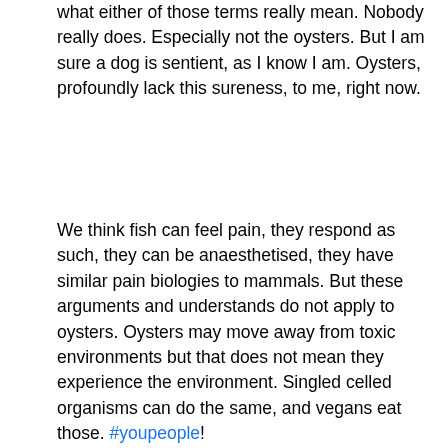what either of those terms really mean. Nobody really does. Especially not the oysters. But I am sure a dog is sentient, as I know I am. Oysters, profoundly lack this sureness, to me, right now.
We think fish can feel pain, they respond as such, they can be anaesthetised, they have similar pain biologies to mammals. But these arguments and understands do not apply to oysters. Oysters may move away from toxic environments but that does not mean they experience the environment. Singled celled organisms can do the same, and vegans eat those. #youpeople!
There is another point, I will make this my last, which is that oysters are jam-packed with nutrients that vegans find very hard to get without chemical supplementation (Which is what I do).
Is that wise? The vegan definition on the society website